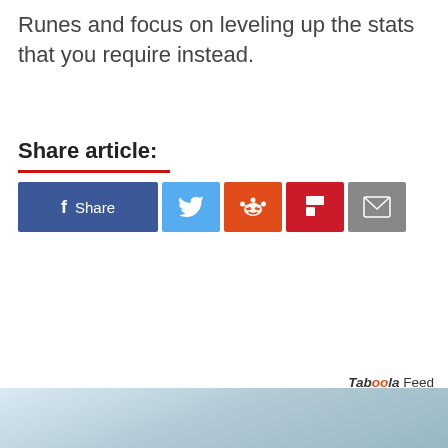Runes and focus on leveling up the stats that you require instead.
Share article:
[Figure (infographic): Social share buttons: Facebook Share (blue), Twitter (light blue), Reddit (orange), Flipboard (red), Email (grey)]
Taboola Feed
[Figure (photo): Light blue sky/cloud background image at the bottom of the page]